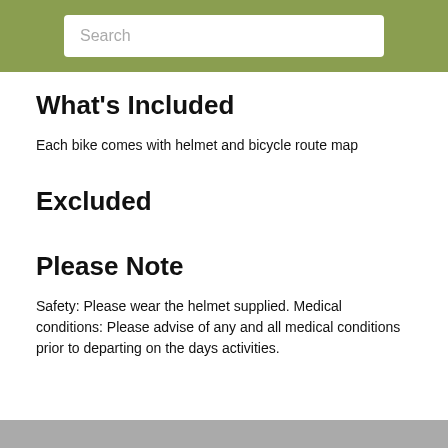Search
What's Included
Each bike comes with helmet and bicycle route map
Excluded
Please Note
Safety: Please wear the helmet supplied. Medical conditions: Please advise of any and all medical conditions prior to departing on the days activities.